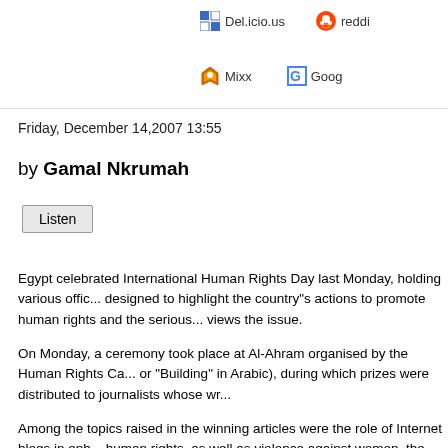Del.icio.us  reddit  Mixx  Goog
Friday, December 14,2007 13:55
by Gamal Nkrumah
Listen
Egypt celebrated International Human Rights Day last Monday, holding various official events designed to highlight the country"s actions to promote human rights and the serious way it views the issue. On Monday, a ceremony took place at Al-Ahram organised by the Human Rights Ca... or "Building" in Arabic), during which prizes were distributed to journalists whose wr... Among the topics raised in the winning articles were the role of Internet blogs in enh... human rights, as well as violence against women, the issue of street children and th... The event highlighted the Egyptian government"s desire to be seen to be taking hu... cooperating fully with civil- society organisations in its dealings with the subject. It a... openness of public debate on human rights. Organised in cooperation with Al-Ahram"s Regional Press Institute, the BENAA eve... Chairman Mursi Atallah and the paper"s Editor-in-Chief Osama Saraya. The current public debate on human rights is especially pertinent in the light of critic... international human rights organisations of the human rights situation in Egypt, doc... international groups such as the US- based Human Rights Watch and Egyptian civi...